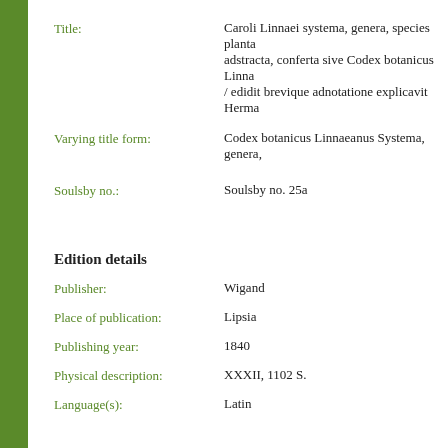Title: Caroli Linnaei systema, genera, species plantarum adstracta, conferta sive Codex botanicus Linnaeanus / edidit brevique adnotatione explicavit Herma
Varying title form: Codex botanicus Linnaeanus Systema, genera,
Soulsby no.: Soulsby no. 25a
Edition details
Publisher: Wigand
Place of publication: Lipsia
Publishing year: 1840
Physical description: XXXII, 1102 S.
Language(s): Latin
Notes